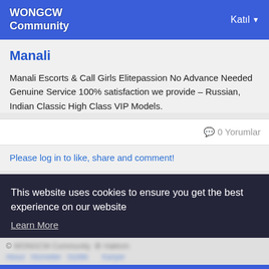WONGCW Community   Katıl
Manali
Manali Escorts & Call Girls Elitepassion No Advance Needed Genuine Service 100% satisfaction we provide – Russian, Indian Classic High Class VIP Models.
0 Yorumlar
Please log in to like, share and comment!
This website uses cookies to ensure you get the best experience on our website
Learn More
Got It!